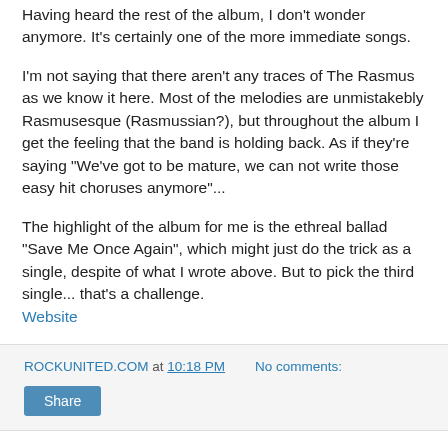Having heard the rest of the album, I don't wonder anymore. It's certainly one of the more immediate songs.
I'm not saying that there aren't any traces of The Rasmus as we know it here. Most of the melodies are unmistakebly Rasmusesque (Rasmussian?), but throughout the album I get the feeling that the band is holding back. As if they're saying "We've got to be mature, we can not write those easy hit choruses anymore"...
The highlight of the album for me is the ethreal ballad "Save Me Once Again", which might just do the trick as a single, despite of what I wrote above. But to pick the third single... that's a challenge.
Website
ROCKUNITED.COM at 10:18 PM   No comments:
PLAYER: "Addiction EP"